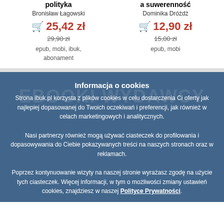polityka
Bronisław Łagowski
25,42 zł
29,90 zł
epub, mobi, ibuk, abonament
a suwerenność
Dominika Dróżdż
12,90 zł
15,00 zł
epub, mobi
Informacja o cookies
Strona ibuk.pl korzysta z plików cookies w celu dostarczenia Ci oferty jak najlepiej dopasowanej do Twoich oczekiwań i preferencji, jak również w celach marketingowych i analitycznych.
Nasi partnerzy również mogą używać ciasteczek do profilowania i dopasowywania do Ciebie pokazywanych treści na naszych stronach oraz w reklamach.
Poprzez kontynuowanie wizyty na naszej stronie wyrażasz zgodę na użycie tych ciasteczek. Więcej informacji, w tym o możliwości zmiany ustawień cookies, znajdziesz w naszej Polityce Prywatności.
✔ Nie pokazuj więcej tego powiadomienia